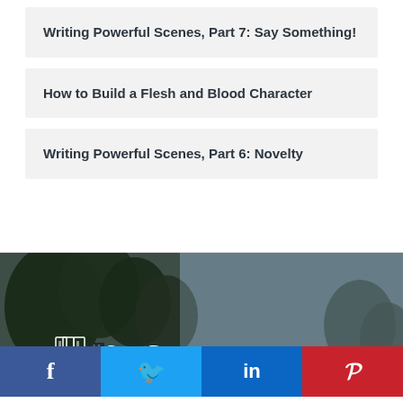Writing Powerful Scenes, Part 7: Say Something!
How to Build a Flesh and Blood Character
Writing Powerful Scenes, Part 6: Novelty
[Figure (photo): Dark background with trees silhouette and MyStoryDoctor logo overlay, with social media sharing buttons (Facebook, Twitter, LinkedIn, Pinterest) at the bottom]